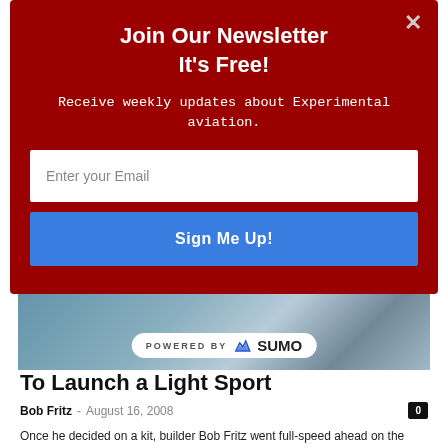[Figure (photo): Workshop/hangar photo showing aircraft construction materials, blue and grey metallic surfaces visible in background]
Join Our Newsletter
It's Free!
Receive weekly updates about Experimental aviation.
Enter your Email
Sign Me Up!
To Launch a Light Sport
Bob Fritz  -  August 16, 2008  0
Once he decided on a kit, builder Bob Fritz went full-speed ahead on the project and has made remarkable progress in a short time. He's nearly ready to start making airplane noises.